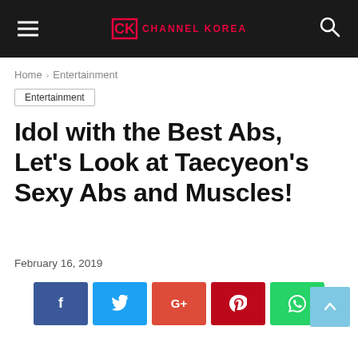Channel Korea
Home › Entertainment
Entertainment
Idol with the Best Abs, Let's Look at Taecyeon's Sexy Abs and Muscles!
February 16, 2019